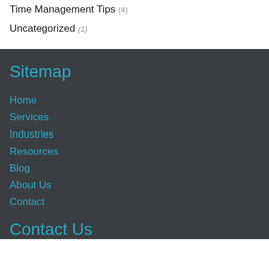Time Management Tips (4)
Uncategorized (1)
Sitemap
Home
Services
Industries
Resources
Blog
About Us
Contact
Contact Us